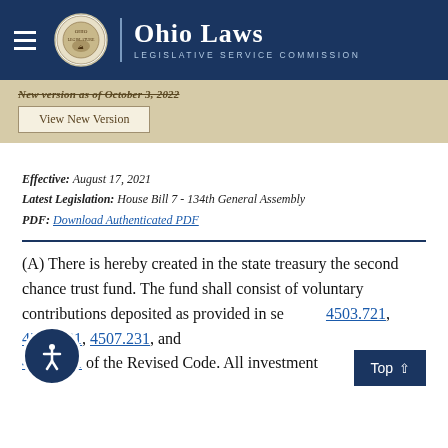Ohio Laws — Legislative Service Commission
New version as of October 3, 2022 — View New Version
Effective: August 17, 2021
Latest Legislation: House Bill 7 - 134th General Assembly
PDF: Download Authenticated PDF
(A) There is hereby created in the state treasury the second chance trust fund. The fund shall consist of voluntary contributions deposited as provided in sections 4503.721, 4506.081, 4507.231, and 4507.301 of the Revised Code. All investment